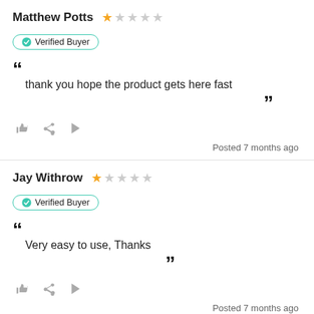Matthew Potts ★☆☆☆☆
Verified Buyer
thank you hope the product gets here fast
Posted 7 months ago
Jay Withrow ★☆☆☆☆
Verified Buyer
Very easy to use, Thanks
Posted 7 months ago